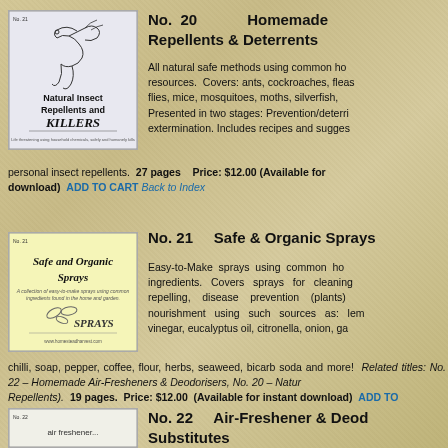[Figure (illustration): Book cover for No. 21 - Natural Insect Repellents and Killers, showing a sketch of a bird and text]
No. 20    Homemade Repellents & Deterrents
All natural safe methods using common household resources. Covers: ants, cockroaches, fleas, flies, mice, mosquitoes, moths, silverfish, Presented in two stages: Prevention/deterring & extermination. Includes recipes and suggestions for personal insect repellents. 27 pages  Price: $12.00 (Available for download)  ADD TO CART  Back to Index
[Figure (illustration): Book cover for No. 21 - Safe and Organic Sprays, yellow cover with title and illustration]
No. 21    Safe & Organic Sprays
Easy-to-Make sprays using common household ingredients. Covers sprays for cleaning, repelling, disease prevention (plants), nourishment using such sources as: lemon, vinegar, eucalyptus oil, citronella, onion, garlic, chilli, soap, pepper, coffee, flour, herbs, seaweed, bicarb soda and more! Related titles: No. 22 – Homemade Air-Fresheners & Deodorisers, No. 20 – Natural Insect Repellents). 19 pages.  Price: $12.00  (Available for instant download)  ADD TO CART  Back to Index
[Figure (illustration): Partial book cover for No. 22 visible at bottom]
No. 22    Air-Freshener & Deodorant Substitutes